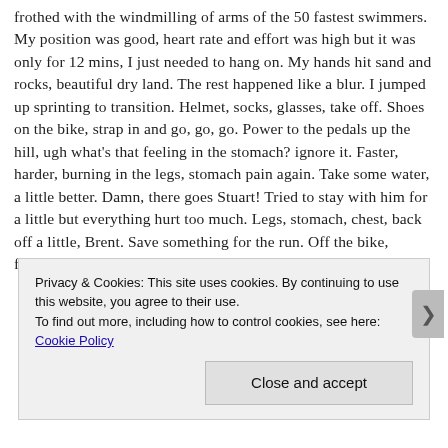frothed with the windmilling of arms of the 50 fastest swimmers. My position was good, heart rate and effort was high but it was only for 12 mins, I just needed to hang on. My hands hit sand and rocks, beautiful dry land. The rest happened like a blur. I jumped up sprinting to transition. Helmet, socks, glasses, take off. Shoes on the bike, strap in and go, go, go. Power to the pedals up the hill, ugh what’s that feeling in the stomach? ignore it. Faster, harder, burning in the legs, stomach pain again. Take some water, a little better. Damn, there goes Stuart! Tried to stay with him for a little but everything hurt too much. Legs, stomach, chest, back off a little, Brent. Save something for the run. Off the bike, feeling ready to hurl. Sprint out of transition, maybe that
Privacy & Cookies: This site uses cookies. By continuing to use this website, you agree to their use.
To find out more, including how to control cookies, see here: Cookie Policy
Close and accept